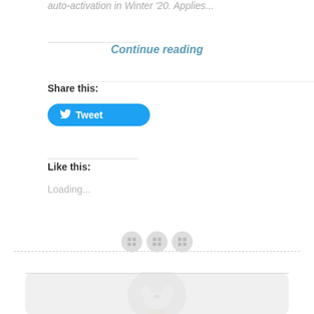auto-activation in Winter '20. Applies...
Continue reading
Share this:
Tweet
Like this:
Loading...
[Figure (illustration): Faint watermark illustration of a cartoon wolf or fox character at the bottom of the page, inside a rounded card element.]